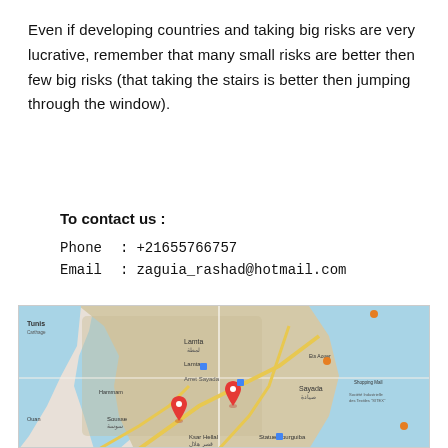Even if developing countries and taking big risks are very lucrative, remember that many small risks are better then few big risks (that taking the stairs is better then jumping through the window).
To contact us :
Phone  :  +21655766757
Email  :  zaguia_rashad@hotmail.com
[Figure (map): Google Maps view showing Tunisia coastal region including Tunis, Lamta, Sayada, Ksar Hellal, Statue Bourguiba, with two red location pins dropped on the map]